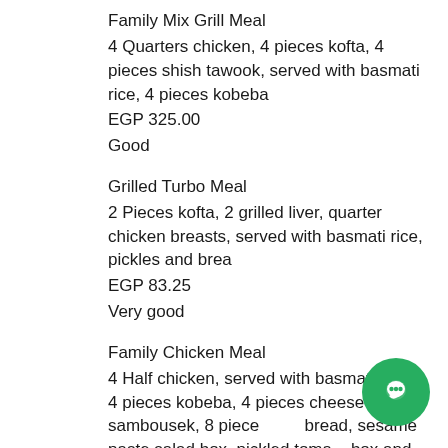Family Mix Grill Meal
4 Quarters chicken, 4 pieces kofta, 4 pieces shish tawook, served with basmati rice, 4 pieces kobeba
EGP 325.00
Good
Grilled Turbo Meal
2 Pieces kofta, 2 grilled liver, quarter chicken breasts, served with basmati rice, pickles and brea
EGP 83.25
Very good
Family Chicken Meal
4 Half chicken, served with basmati rice, 4 pieces kobeba, 4 pieces cheese sambousek, 8 pieces pita bread, sesame paste salad box, pickled tomato box and Pepsi liter
[Figure (other): Green circular chat button with a chat bubble icon in the bottom right corner]